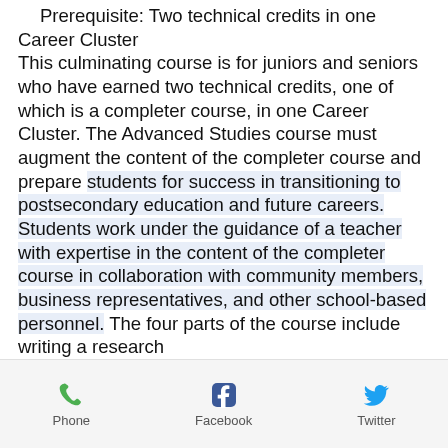Prerequisite: Two technical credits in one Career Cluster
This culminating course is for juniors and seniors who have earned two technical credits, one of which is a completer course, in one Career Cluster. The Advanced Studies course must augment the content of the completer course and prepare students for success in transitioning to postsecondary education and future careers. Students work under the guidance of a teacher with expertise in the content of the completer course in collaboration with community members, business representatives, and other school-based personnel. The four parts of the course include writing a research
Phone  Facebook  Twitter